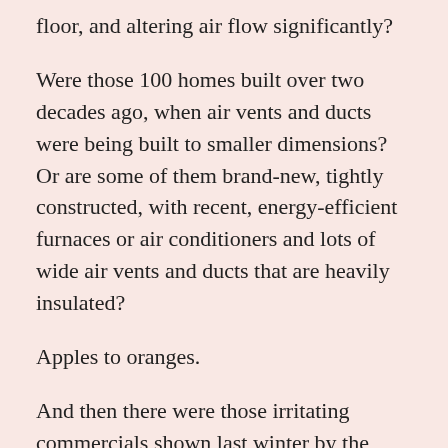floor, and altering air flow significantly?
Were those 100 homes built over two decades ago, when air vents and ducts were being built to smaller dimensions? Or are some of them brand-new, tightly constructed, with recent, energy-efficient furnaces or air conditioners and lots of wide air vents and ducts that are heavily insulated?
Apples to oranges.
And then there were those irritating commercials shown last winter by the power company, providing suggestions for reducing power consumption. (As my 90-year-